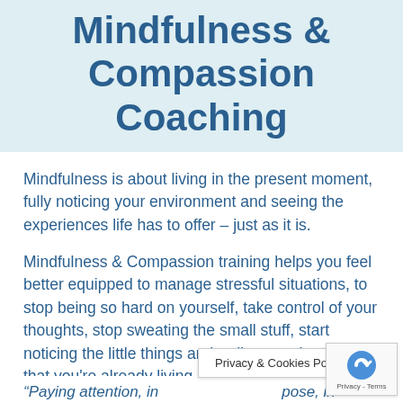Mindfulness & Compassion Coaching
Mindfulness is about living in the present moment, fully noticing your environment and seeing the experiences life has to offer – just as it is.
Mindfulness & Compassion training helps you feel better equipped to manage stressful situations, to stop being so hard on yourself, take control of your thoughts, stop sweating the small stuff, start noticing the little things and rediscover the world that you're already living in a new way.
“Paying attention, in… pose, in